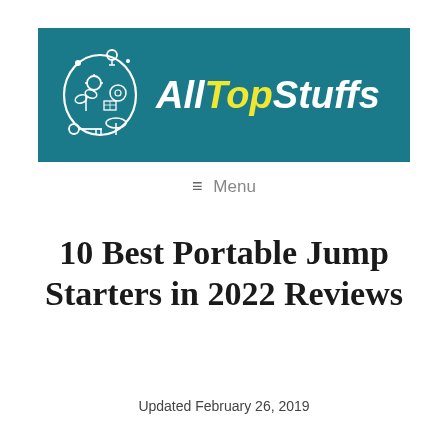[Figure (logo): AllTopStuffs website logo banner — teal/dark cyan background with a circular illustrated icon on the left (white line-art showing gadgets, plants, keys, and other objects) and bold italic text 'AllTopStuffs' on the right with 'All' and 'Stuffs' in white and 'Top' in yellow]
≡ Menu
10 Best Portable Jump Starters in 2022 Reviews
Updated February 26, 2019